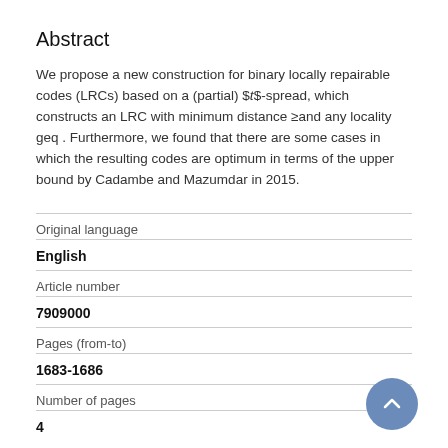Abstract
We propose a new construction for binary locally repairable codes (LRCs) based on a (partial) $t$-spread, which constructs an LRC with minimum distance ≥and any locality geq . Furthermore, we found that there are some cases in which the resulting codes are optimum in terms of the upper bound by Cadambe and Mazumdar in 2015.
| Field | Value |
| --- | --- |
| Original language | English |
| Article number | 7909000 |
| Pages (from-to) | 1683-1686 |
| Number of pages | 4 |